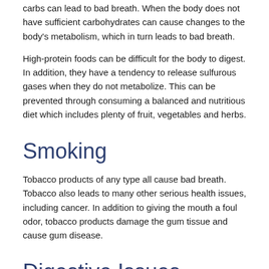carbs can lead to bad breath. When the body does not have sufficient carbohydrates can cause changes to the body's metabolism, which in turn leads to bad breath.
High-protein foods can be difficult for the body to digest. In addition, they have a tendency to release sulfurous gases when they do not metabolize. This can be prevented through consuming a balanced and nutritious diet which includes plenty of fruit, vegetables and herbs.
Smoking
Tobacco products of any type all cause bad breath. Tobacco also leads to many other serious health issues, including cancer. In addition to giving the mouth a foul odor, tobacco products damage the gum tissue and cause gum disease.
Digestive Issues
Poor digestion, constipation, or bowel disorders can also cause bad breath. Patients who frequently experience acid reflux allow the odors from recently consumed foods to easily travel back up the esophagus